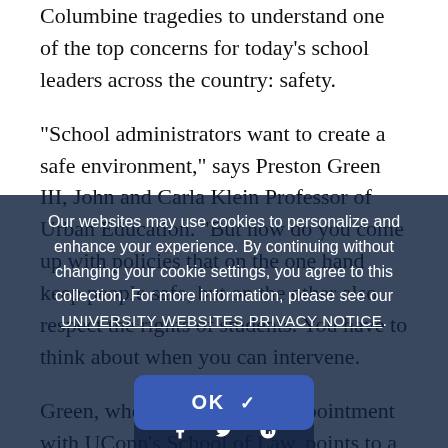Columbine tragedies to understand one of the top concerns for today's school leaders across the country: safety.
“School administrators want to create a safe environment,” says Preston Green III, John and Carla Klein Professor of Urban Education. “But how do you come up with policies that on the one hand keep people safe, but on the other also respect the rights of students. You have to think about when you can intervene.”
Green, who also has a joint appointment with UConn’s School of Law, points to a case out of New Jersey in 2014, an honors student athlete and high school football and basketball star, who faced a long-term
Our websites may use cookies to personalize and enhance your experience. By continuing without changing your cookie settings, you agree to this collection. For more information, please see our UNIVERSITY WEBSITES PRIVACY NOTICE.